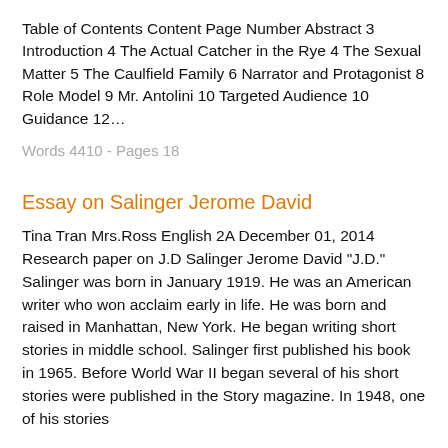Table of Contents Content Page Number Abstract 3 Introduction 4 The Actual Catcher in the Rye 4 The Sexual Matter 5 The Caulfield Family 6 Narrator and Protagonist 8 Role Model 9 Mr. Antolini 10 Targeted Audience 10 Guidance 12…
Words 4410 - Pages 18
Essay on Salinger Jerome David
Tina Tran Mrs.Ross English 2A December 01, 2014 Research paper on J.D Salinger Jerome David "J.D." Salinger was born in January 1919. He was an American writer who won acclaim early in life. He was born and raised in Manhattan, New York. He began writing short stories in middle school. Salinger first published his book in 1965. Before World War II began several of his short stories were published in the Story magazine. In 1948, one of his stories